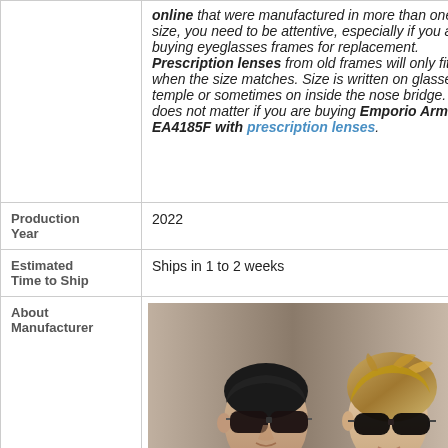online that were manufactured in more than one size, you need to be attentive, especially if you are buying eyeglasses frames for replacement. Prescription lenses from old frames will only fit when the size matches. Size is written on glasses temple or sometimes on inside the nose bridge. Size does not matter if you are buying Emporio Armani EA4185F with prescription lenses.
|  |  |
| --- | --- |
| Production Year | 2022 |
| Estimated Time to Ship | Ships in 1 to 2 weeks |
| About Manufacturer | [photo of two people wearing sunglasses] |
[Figure (photo): Two fashion models wearing sunglasses — a man in a suit on the left and a woman with styled hair on the right, both wearing dark sunglasses in an Emporio Armani brand-style photo]